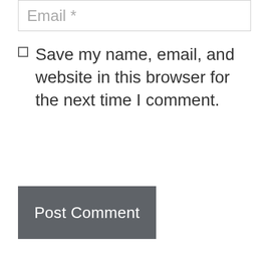Email *
Save my name, email, and website in this browser for the next time I comment.
Post Comment